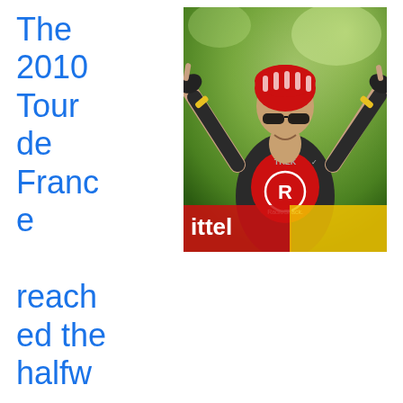The 2010 Tour de France reached the halfway point today, and after a grueling couple of days in the Alps, things calmed down somewhat, allowing the sprinters to take center stage once again. The 179 km (111 mile) route ran from Chambéry to Gap and featured a single
[Figure (photo): A cyclist in a RadioShack team jersey and red helmet with arms raised in victory celebration, photographed against a blurred green tree background.]